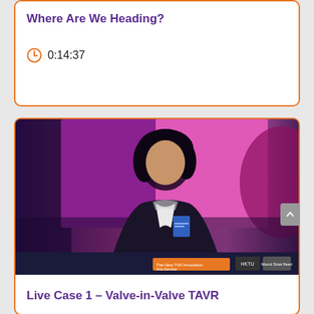Where Are We Heading?
0:14:37
[Figure (photo): A man with dark hair wearing a dark jacket and blue conference badge sits at a table. The background is lit with pink/purple stage lighting. A conference banner is visible at the bottom.]
Live Case 1 – Valve-in-Valve TAVR